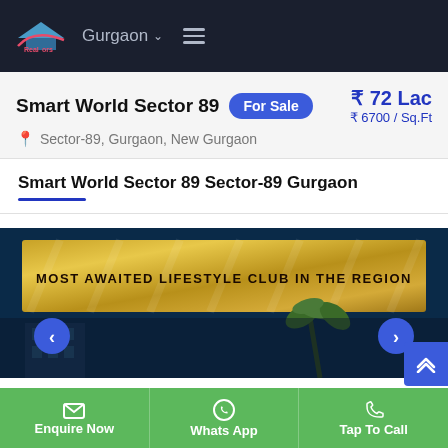Gurgaon — navigation header with logo
Smart World Sector 89
For Sale
₹ 72 Lac
₹ 6700 / Sq.Ft
Sector-89, Gurgaon, New Gurgaon
Smart World Sector 89 Sector-89 Gurgaon
[Figure (photo): Promotional image showing 'MOST AWAITED LIFESTYLE CLUB IN THE REGION' on a gold banner, with building and palm tree imagery below, on a dark blue background. Left and right navigation arrows visible.]
Enquire Now | Whats App | Tap To Call